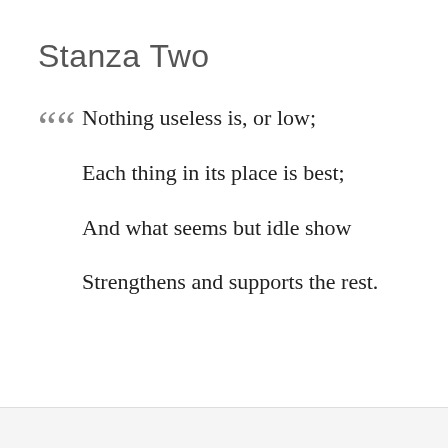Stanza Two
““ Nothing useless is, or low;

Each thing in its place is best;

And what seems but idle show

Strengthens and supports the rest.